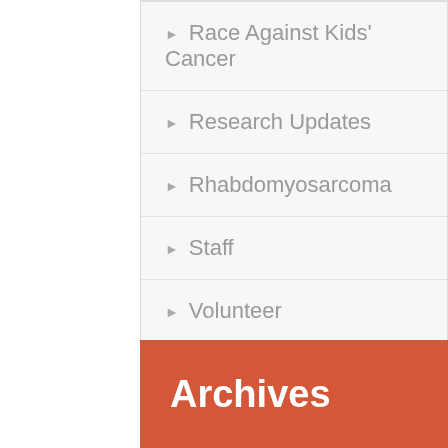Race Against Kids' Cancer
Research Updates
Rhabdomyosarcoma
Staff
Volunteer
Zach's Chili Challenge
Archives